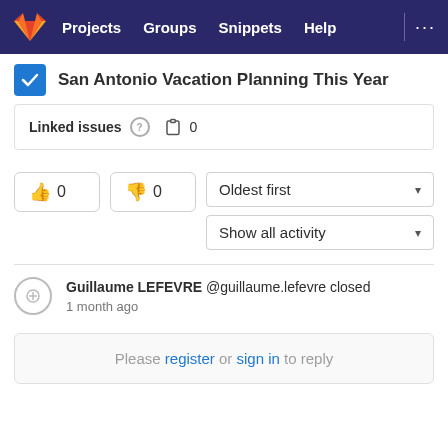GitLab navigation: Projects | Groups | Snippets | Help
San Antonio Vacation Planning This Year
Linked issues  0
Oldest first
Show all activity
Guillaume LEFEVRE @guillaume.lefevre closed
1 month ago
Please register or sign in to reply